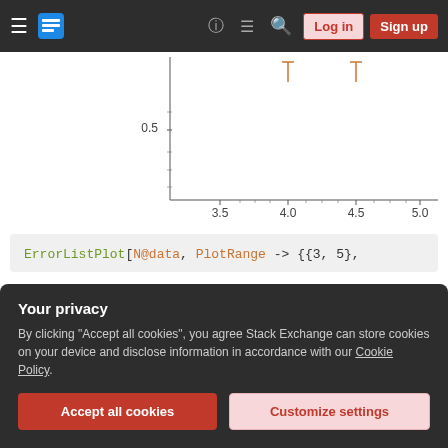[Figure (screenshot): Stack Overflow / Stack Exchange navigation bar with hamburger menu, logo, help, chat, search icons, Login and Sign up buttons]
[Figure (continuous-plot): Plot with y-axis showing 0.5 and x-axis showing 3.5, 4.0, 4.5, 5.0 with two small vertical error-bar markers near top]
ErrorListPlot[N@data, PlotRange -> {{3, 5},
[Figure (continuous-plot): Second plot with y-axis showing 2.0 and 1.5, x-axis partially visible, partially obscured by privacy overlay]
Your privacy
By clicking "Accept all cookies", you agree Stack Exchange can store cookies on your device and disclose information in accordance with our Cookie Policy.
Accept all cookies
Customize settings